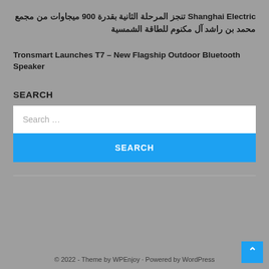Shanghai Electric تنجز المرحلة الثانية بقدرة 900 ميجاوات من مجمع محمد بن راشد آل مكنوم للطاقة الشمسية
Tronsmart Launches T7 – New Flagship Outdoor Bluetooth Speaker
SEARCH
Search …
SEARCH
© 2022 - Theme by WPEnjoy · Powered by WordPress